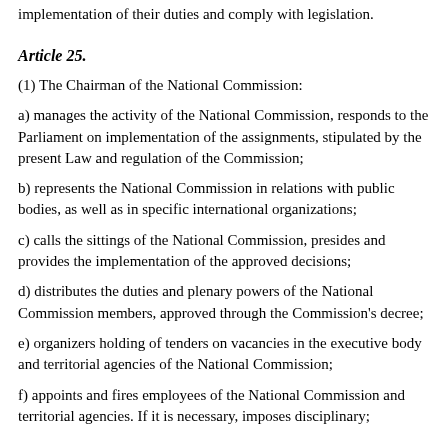implementation of their duties and comply with legislation.
Article 25.
(1) The Chairman of the National Commission:
a) manages the activity of the National Commission, responds to the Parliament on implementation of the assignments, stipulated by the present Law and regulation of the Commission;
b) represents the National Commission in relations with public bodies, as well as in specific international organizations;
c) calls the sittings of the National Commission, presides and provides the implementation of the approved decisions;
d) distributes the duties and plenary powers of the National Commission members, approved through the Commission's decree;
e) organizers holding of tenders on vacancies in the executive body and territorial agencies of the National Commission;
f) appoints and fires employees of the National Commission and territorial agencies. If it is necessary, imposes disciplinary;